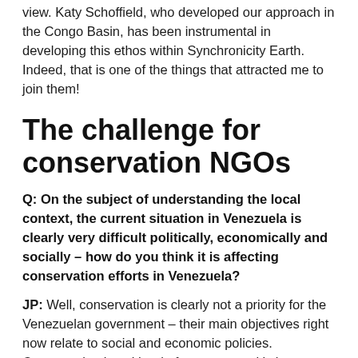view. Katy Schoffield, who developed our approach in the Congo Basin, has been instrumental in developing this ethos within Synchronicity Earth. Indeed, that is one of the things that attracted me to join them!
The challenge for conservation NGOs
Q: On the subject of understanding the local context, the current situation in Venezuela is clearly very difficult politically, economically and socially – how do you think it is affecting conservation efforts in Venezuela?
JP: Well, conservation is clearly not a priority for the Venezuelan government – their main objectives right now relate to social and economic policies. Conservation is neither in favour or not, it's just not part of the discourse, so conservation is basically driven by civil society,